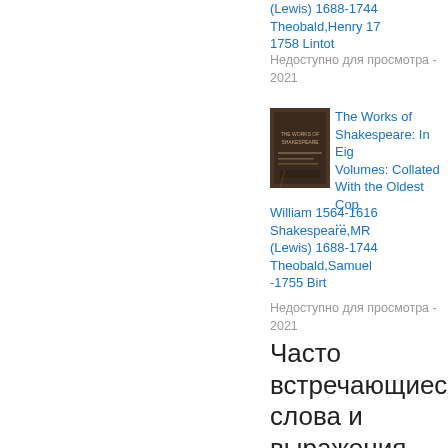(Lewis) 1688-1744 Theobald,Henry 1760 1758 Lintot
Недоступно для просмотра - 2021
[Figure (photo): Book cover thumbnail for The Works of Shakespeare]
The Works of Shakespeare: In Eight Volumes: Collated With the Oldest Cop...
William 1564-1616 Shakespeare,MR (Lewis) 1688-1744 Theobald,Samuel -1755 Birt
Недоступно для просмотра - 2021
Часто встречающиеся слова и выражения